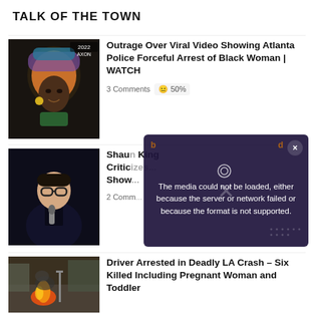TALK OF THE TOWN
[Figure (photo): Thumbnail photo of Black woman with colorful head wrap and yellow earring, dark background with police camera overlay text '2022 AXON']
Outrage Over Viral Video Showing Atlanta Police Forceful Arrest of Black Woman | WATCH
3 Comments  50%
[Figure (photo): Thumbnail photo of a man with glasses holding a microphone, dark background]
Shaun King Criticizes... Show...
2 Comments
[Figure (screenshot): Video error overlay: The media could not be loaded, either because the server or network failed or because the format is not supported.]
[Figure (photo): Thumbnail of a street crash scene with fire and smoke]
Driver Arrested in Deadly LA Crash – Six Killed Including Pregnant Woman and Toddler